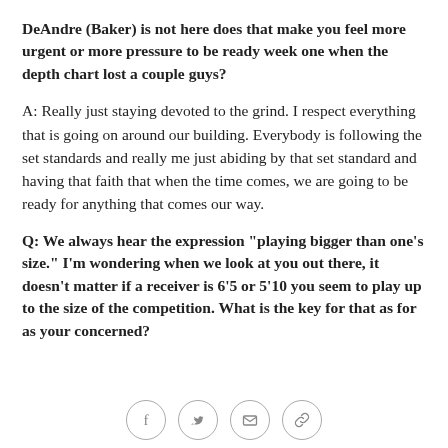DeAndre (Baker) is not here does that make you feel more urgent or more pressure to be ready week one when the depth chart lost a couple guys?
A: Really just staying devoted to the grind. I respect everything that is going on around our building. Everybody is following the set standards and really me just abiding by that set standard and having that faith that when the time comes, we are going to be ready for anything that comes our way.
Q: We always hear the expression "playing bigger than one's size." I'm wondering when we look at you out there, it doesn't matter if a receiver is 6'5 or 5'10 you seem to play up to the size of the competition. What is the key for that as for as your concerned?
[Figure (other): Social media sharing icons: Facebook, Twitter, email, and link/copy icon arranged horizontally in circles]